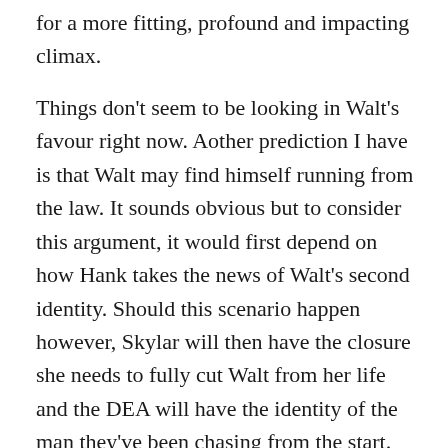for a more fitting, profound and impacting climax.
Things don't seem to be looking in Walt's favour right now. Aother prediction I have is that Walt may find himself running from the law. It sounds obvious but to consider this argument, it would first depend on how Hank takes the news of Walt's second identity. Should this scenario happen however, Skylar will then have the closure she needs to fully cut Walt from her life and the DEA will have the identity of the man they've been chasing from the start. When you think that Walt has been distancing himself further and further away from his family, it's a potential conclusion. It's also a conclusion not too far from what we saw in the flash-forward at the beginning of season 5; it's a year down the line, Walt's alone, with